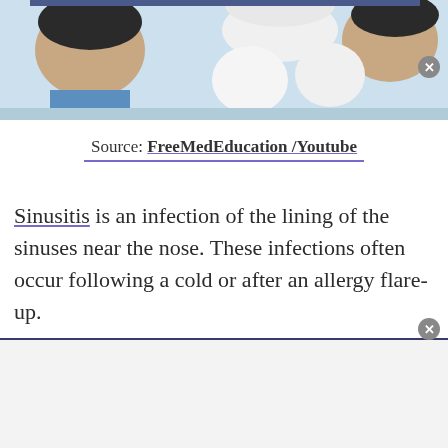[Figure (illustration): Illustration showing medical/surgical scene with figures wearing white caps and gloves, light blue background, partial view cropped at top of page]
Source: FreeMedEducation /Youtube
Sinusitis is an infection of the lining of the sinuses near the nose. These infections often occur following a cold or after an allergy flare-up.
[Figure (other): Advertisement panel at bottom of page, blank/white content area with gray background]